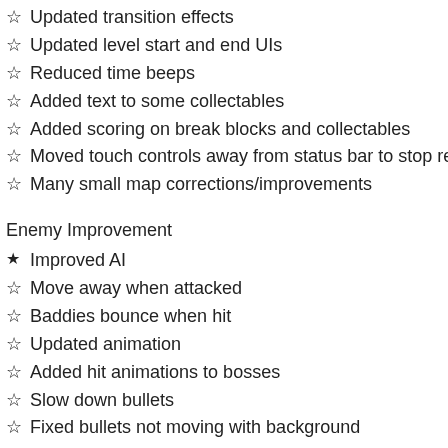Updated transition effects
Updated level start and end UIs
Reduced time beeps
Added text to some collectables
Added scoring on break blocks and collectables
Moved touch controls away from status bar to stop respon
Many small map corrections/improvements
Enemy Improvement
Improved AI
Move away when attacked
Baddies bounce when hit
Updated animation
Added hit animations to bosses
Slow down bullets
Fixed bullets not moving with background
Added score floats
Update scores